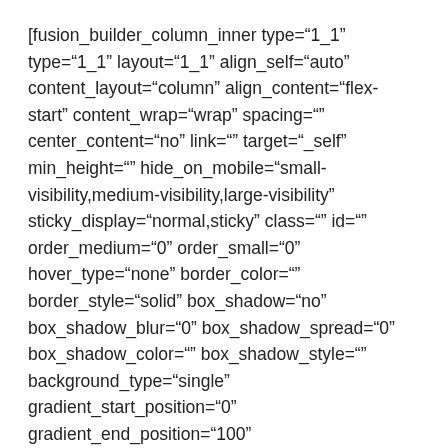[fusion_builder_column_inner type="1_1" type="1_1" layout="1_1" align_self="auto" content_layout="column" align_content="flex-start" content_wrap="wrap" spacing="" center_content="no" link="" target="_self" min_height="" hide_on_mobile="small-visibility,medium-visibility,large-visibility" sticky_display="normal,sticky" class="" id="" order_medium="0" order_small="0" hover_type="none" border_color="" border_style="solid" box_shadow="no" box_shadow_blur="0" box_shadow_spread="0" box_shadow_color="" box_shadow_style="" background_type="single" gradient_start_position="0" gradient_end_position="100"